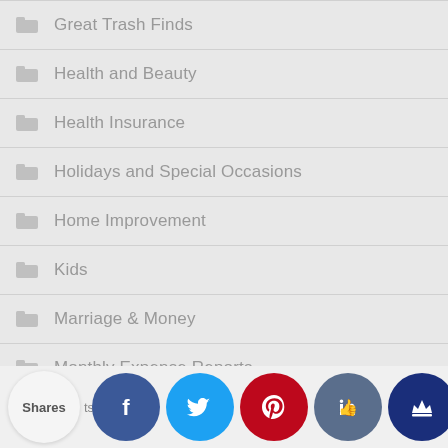Great Trash Finds
Health and Beauty
Health Insurance
Holidays and Special Occasions
Home Improvement
Kids
Marriage & Money
Monthly Expense Reports
Our Finances
[Figure (infographic): Social sharing bar with Shares label and social media buttons: Facebook (blue), Twitter (cyan), Pinterest (red), thumbs-up/like (slate blue), crown (dark blue)]